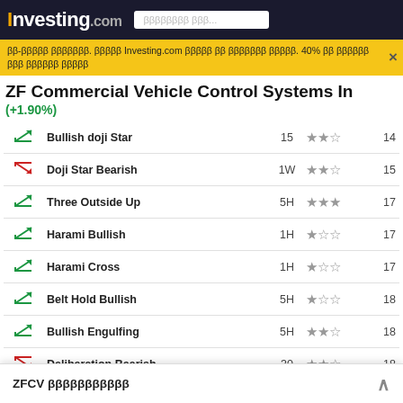Investing.com
ββ-ββββ ββββββ. βββ Investing.com βββββ ββ βββββββ βββ. 40% ββ βββββ βββ ββββββ βββ
ZF Commercial Vehicle Control Systems In
(+1.90%)
|  | Pattern | Timeframe | Reliability | Candles Ago |
| --- | --- | --- | --- | --- |
| ↗ | Bullish doji Star | 15 | ★★☆ | 14 |
| ↘ | Doji Star Bearish | 1W | ★★☆ | 15 |
| ↗ | Three Outside Up | 5H | ★★★ | 17 |
| ↗ | Harami Bullish | 1H | ★☆☆ | 17 |
| ↗ | Harami Cross | 1H | ★☆☆ | 17 |
| ↗ | Belt Hold Bullish | 5H | ★☆☆ | 18 |
| ↗ | Bullish Engulfing | 5H | ★★☆ | 18 |
| ↘ | Deliberation Bearish | 30 | ★★☆ | 18 |
| ↗ | Harami Bullish | 15 | ★☆☆ | 19 |
| ↗ | Harami Cross | 15 | ★☆☆ | 19 |
| ↘ | Engulfing Bearish | 1W | ★★☆ | 21 |
| ↗ | Harami Bullish | 1H | ★☆☆ | 21 |
| ↗ | Harami C… | … | ★☆☆ | … |
ZFCV βββββββββββ